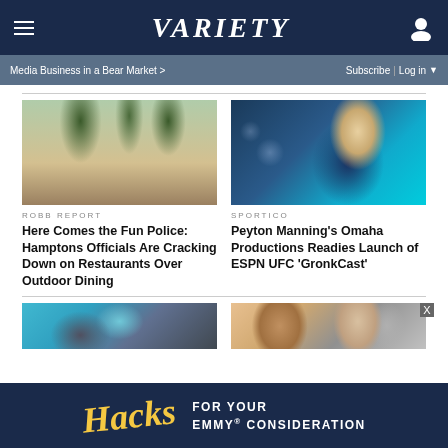VARIETY
Media Business in a Bear Market >
Subscribe | Log in
[Figure (photo): Outdoor dining scene with tables and chairs on a sidewalk, trees, a person walking]
ROBB REPORT
Here Comes the Fun Police: Hamptons Officials Are Cracking Down on Restaurants Over Outdoor Dining
[Figure (photo): Peyton Manning in a dark suit speaking at an event against a teal background]
SPORTICO
Peyton Manning's Omaha Productions Readies Launch of ESPN UFC 'GronkCast'
[Figure (photo): Partial image at bottom left, appears to be a person with teal/dark clothing]
[Figure (photo): Partial image at bottom right showing two people]
Hacks FOR YOUR EMMY® CONSIDERATION